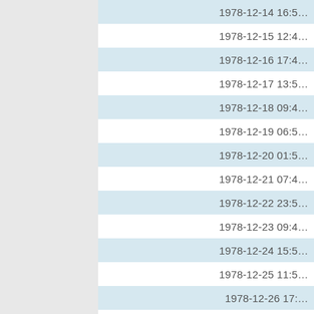| datetime |
| --- |
| 1978-12-14 16:5… |
| 1978-12-15 12:4… |
| 1978-12-16 17:4… |
| 1978-12-17 13:5… |
| 1978-12-18 09:4… |
| 1978-12-19 06:5… |
| 1978-12-20 01:5… |
| 1978-12-21 07:4… |
| 1978-12-22 23:5… |
| 1978-12-23 09:4… |
| 1978-12-24 15:5… |
| 1978-12-25 11:5… |
| 1978-12-26 17:… |